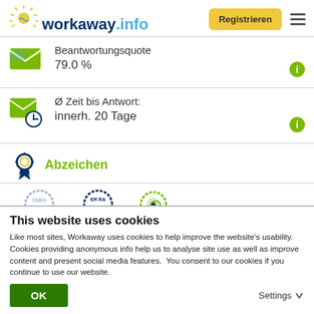[Figure (logo): Workaway.info logo with sun icon]
Registrieren
Beantwortungsquote
79.0 %
Ø Zeit bis Antwort:
innerh. 20 Tage
Abzeichen
[Figure (illustration): Partial badge icons row: Facebook badge, super rating badge, green badge]
This website uses cookies
Like most sites, Workaway uses cookies to help improve the website's usability. Cookies providing anonymous info help us to analyse site use as well as improve content and present social media features.  You consent to our cookies if you continue to use our website.
OK
Settings